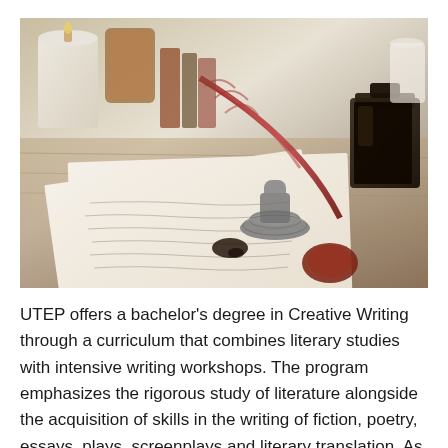[Figure (photo): A photograph of a quill pen resting on handwritten letter paper, with an ink bottle, wax seal, and candles in the background — a classic writing scene.]
UTEP offers a bachelor's degree in Creative Writing through a curriculum that combines literary studies with intensive writing workshops. The program emphasizes the rigorous study of literature alongside the acquisition of skills in the writing of fiction, poetry, essays, plays, screenplays and literary translation. As such, the degree plan strikes a balance between theory and practice, between critical and imaginative thinking. As students progress in